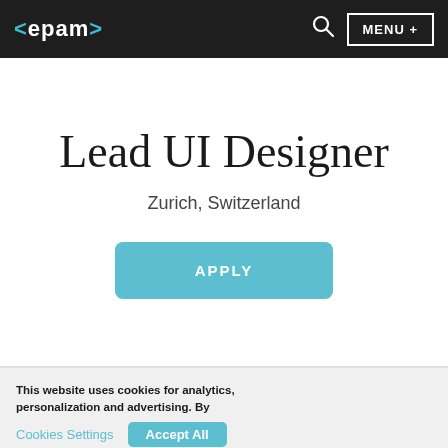<epam> MENU +
Lead UI Designer
Zurich, Switzerland
APPLY
This website uses cookies for analytics, personalization and advertising. By continuing to browse, you agree to our use of cookies. To learn more click Cookie Policy
Cookies Settings    Accept All